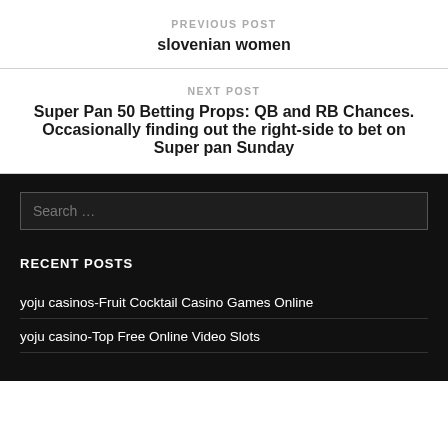PREVIOUS POST
slovenian women
NEXT POST
Super Pan 50 Betting Props: QB and RB Chances. Occasionally finding out the right-side to bet on Super pan Sunday
Search …
RECENT POSTS
yoju casinos-Fruit Cocktail Casino Games Online
yoju casino-Top Free Online Video Slots